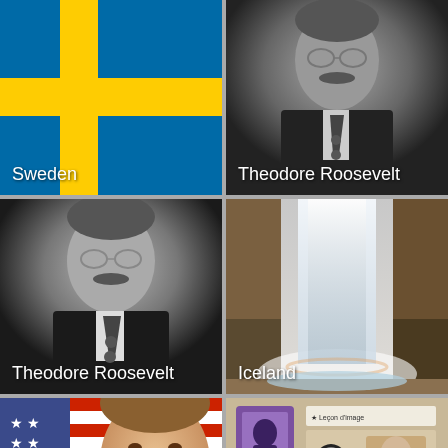[Figure (illustration): Swedish flag – blue background with yellow Nordic cross – labeled 'Sweden']
[Figure (photo): Black-and-white portrait photo of Theodore Roosevelt – labeled 'Theodore Roosevelt']
[Figure (photo): Black-and-white portrait photo of Theodore Roosevelt – labeled 'Theodore Roosevelt']
[Figure (photo): Color photo of a large waterfall in Iceland – labeled 'Iceland']
[Figure (photo): Color photo of a man smiling in front of American flag (partial, bottom row)]
[Figure (screenshot): Screenshot thumbnail of a Leçon d'image page with portraits (partial, bottom row), with a circular scroll-to-top button overlay]